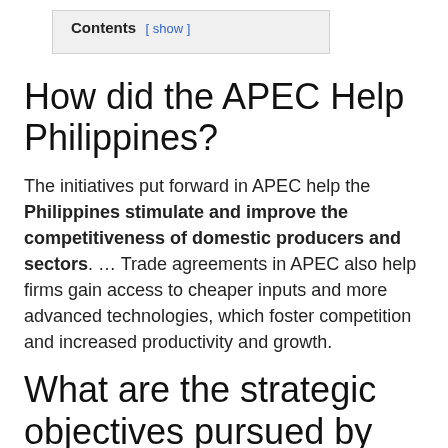Contents [ show ]
How did the APEC Help Philippines?
The initiatives put forward in APEC help the Philippines stimulate and improve the competitiveness of domestic producers and sectors. … Trade agreements in APEC also help firms gain access to cheaper inputs and more advanced technologies, which foster competition and increased productivity and growth.
What are the strategic objectives pursued by the